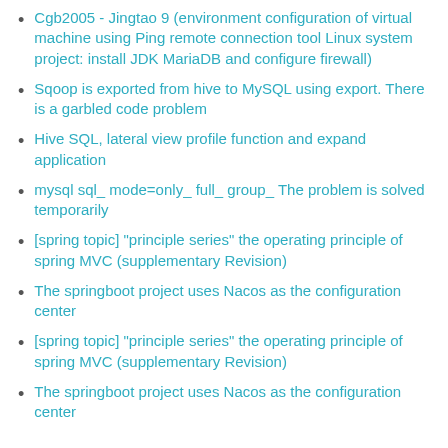Cgb2005 - Jingtao 9 (environment configuration of virtual machine using Ping remote connection tool Linux system project: install JDK MariaDB and configure firewall)
Sqoop is exported from hive to MySQL using export. There is a garbled code problem
Hive SQL, lateral view profile function and expand application
mysql sql_ mode=only_ full_ group_ The problem is solved temporarily
[spring topic] "principle series" the operating principle of spring MVC (supplementary Revision)
The springboot project uses Nacos as the configuration center
[spring topic] "principle series" the operating principle of spring MVC (supplementary Revision)
The springboot project uses Nacos as the configuration center